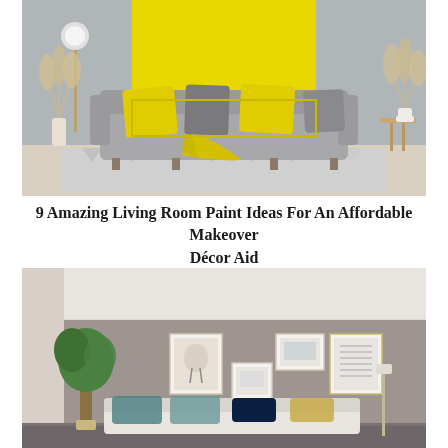[Figure (photo): Living room with grey sofa, yellow accent pillows and throw blanket, yellow painted wall panel, pampas grass decor, geometric rug on light wood floor]
9 Amazing Living Room Paint Ideas For An Affordable Makeover Décor Aid
[Figure (photo): Living room with taupe/grey walls, gallery wall with framed art prints, white sofa with teal and yellow pillows, small potted tree, white floor lamp]